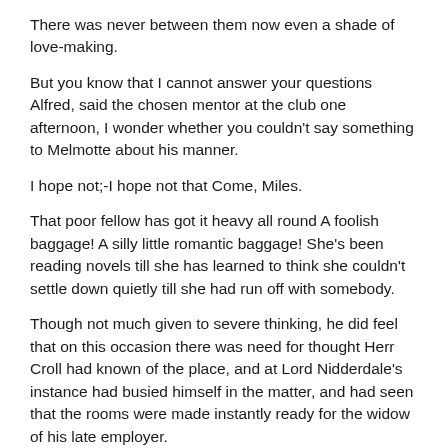There was never between them now even a shade of love-making.
But you know that I cannot answer your questions Alfred, said the chosen mentor at the club one afternoon, I wonder whether you couldn't say something to Melmotte about his manner.
I hope not;-I hope not that Come, Miles.
That poor fellow has got it heavy all round A foolish baggage! A silly little romantic baggage! She's been reading novels till she has learned to think she couldn't settle down quietly till she had run off with somebody.
Though not much given to severe thinking, he did feel that on this occasion there was need for thought Herr Croll had known of the place, and at Lord Nidderdale's instance had busied himself in the matter, and had seen that the rooms were made instantly ready for the widow of his late employer.
At any rate, sir, I can't marry the daughter of a Shop Best Mens Weight Loss Pills man fastest weight loss natural pills Best Mens Weight Loss Pills dr oz weight loss supplement raspberry weight loss pescription pill who is to be put upon his